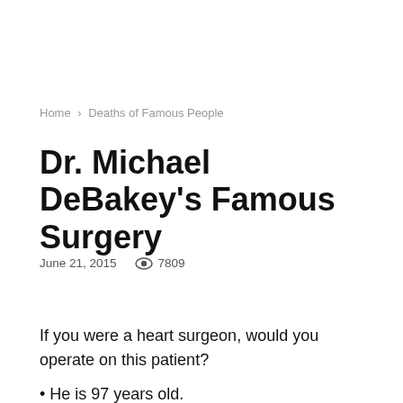Home › Deaths of Famous People
Dr. Michael DeBakey's Famous Surgery
June 21, 2015   👁 7809
If you were a heart surgeon, would you operate on this patient?
• He is 97 years old.